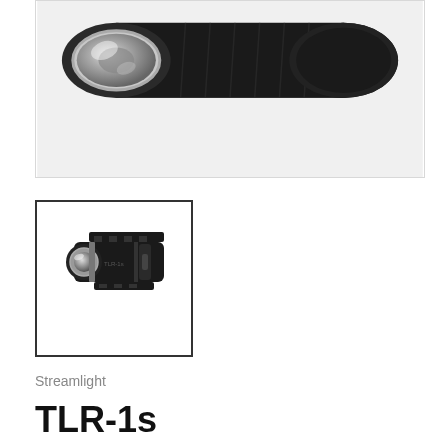[Figure (photo): Close-up photo of the front/lens end of a black tactical flashlight (Streamlight TLR-1s), showing the reflective silver lens and black body, angled view]
[Figure (photo): Thumbnail image of the Streamlight TLR-1s weapon-mounted tactical flashlight, showing the full unit with rail mount on top and LED lens on the left, set against white background]
Streamlight
TLR-1s